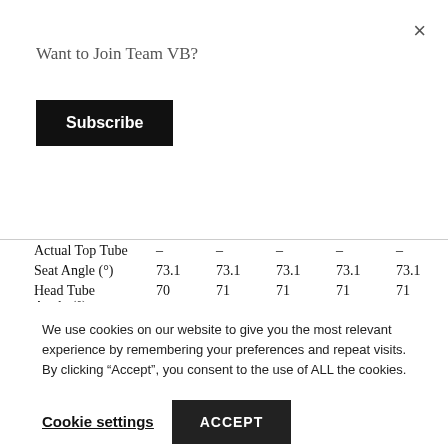Want to Join Team VB?
Subscribe
|  | col1 | col2 | col3 | col4 | col5 |
| --- | --- | --- | --- | --- | --- |
| Actual Top Tube | – | – | – | – | – |
| Seat Angle (°) | 73.1 | 73.1 | 73.1 | 73.1 | 73.1 |
| Head Tube Angle (°) | 70 | 71 | 71 | 71 | 71 |
| Head Tube Length | 89 | 118 | 149 | 182 | 214 |
| Fork Rake | 55 | 55 | 55 | 55 | 55 |
| Chainstay | 430 | 430 | 430 | 430 | 430 |
We use cookies on our website to give you the most relevant experience by remembering your preferences and repeat visits. By clicking “Accept”, you consent to the use of ALL the cookies.
Cookie settings
ACCEPT